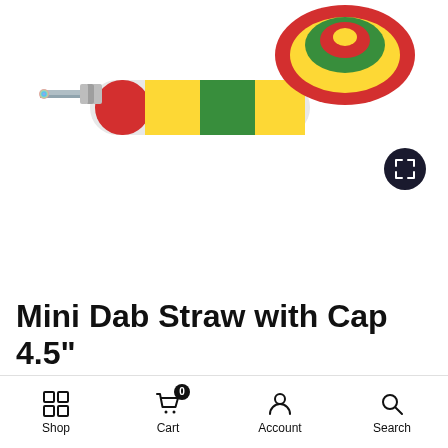[Figure (photo): Product photo of a Mini Dab Straw with Cap 4.5 inch, colorful silicone body in red, yellow, and green rasta colors with a metal tip. Two pieces shown: the straw nectar collector and a round silicone container cap.]
Mini Dab Straw with Cap 4.5"
Shop  Cart 0  Account  Search